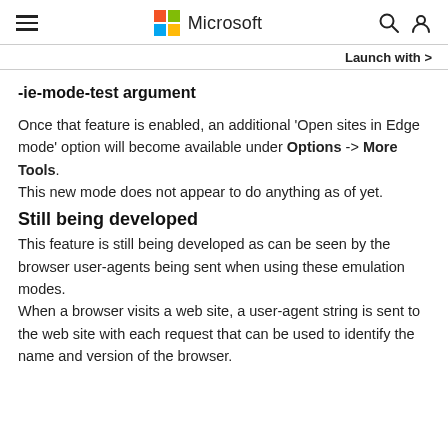Microsoft
Launch with >
-ie-mode-test argument
Once that feature is enabled, an additional 'Open sites in Edge mode' option will become available under Options -> More Tools.
This new mode does not appear to do anything as of yet.
Still being developed
This feature is still being developed as can be seen by the browser user-agents being sent when using these emulation modes.
When a browser visits a web site, a user-agent string is sent to the web site with each request that can be used to identify the name and version of the browser.